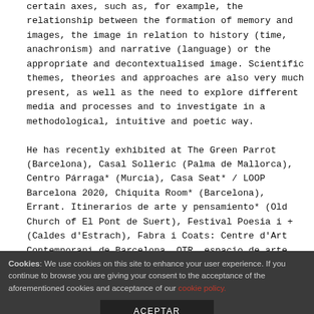certain axes, such as, for example, the relationship between the formation of memory and images, the image in relation to history (time, anachronism) and narrative (language) or the appropriate and decontextualised image. Scientific themes, theories and approaches are also very much present, as well as the need to explore different media and processes and to investigate in a methodological, intuitive and poetic way.

He has recently exhibited at The Green Parrot (Barcelona), Casal Solleric (Palma de Mallorca), Centro Párraga* (Murcia), Casa Seat* / LOOP Barcelona 2020, Chiquita Room* (Barcelona), Errant. Itinerarios de arte y pensamiento* (Old Church of El Pont de Suert), Festival Poesia i + (Caldes d'Estrach), Fabra i Coats: Centre d'Art Contemporani de Barcelona, OTR. espacio de arte (Madrid), Swab Barcelona, Dilalica (Barcelona), Bienal de Cuenca (Ecuador), ArtBo (Bogota, Colombia), CaixaForum Barcelona, BienalSUR (Casa Nacional del Bicentenario, Buenos Aires, Argentina), Festival Embarrat (Tárrega), NC-arte (Bogota, Colombia), ARCO
Cookies: We use cookies on this site to enhance your user experience. If you continue to browse you are giving your consent to the acceptance of the aforementioned cookies and acceptance of our cookie policy.